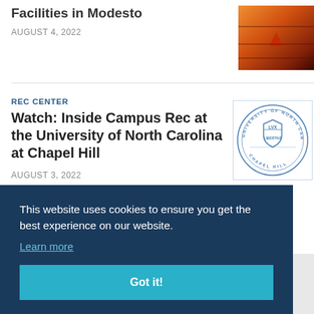Facilities in Modesto
AUGUST 4, 2022
[Figure (photo): Orange-hued photo of a fire or illuminated facility at night]
REC CENTER
Watch: Inside Campus Rec at the University of North Carolina at Chapel Hill
AUGUST 3, 2022
[Figure (logo): University of North Carolina Chapel Hill circular seal with shield, LVX and LIBERTAS text]
This website uses cookies to ensure you get the best experience on our website.
Learn more
Got it!